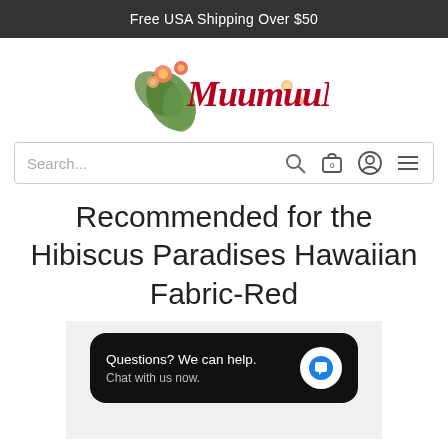Free USA Shipping Over $50
[Figure (logo): MuumuuMall logo with tropical floral decoration in red script font]
Search...
Recommended for the Hibiscus Paradises Hawaiian Fabric-Red
[Figure (screenshot): Chat widget with black rounded rectangle: 'Questions? We can help. Chat with us now.' with blue chat icon button]